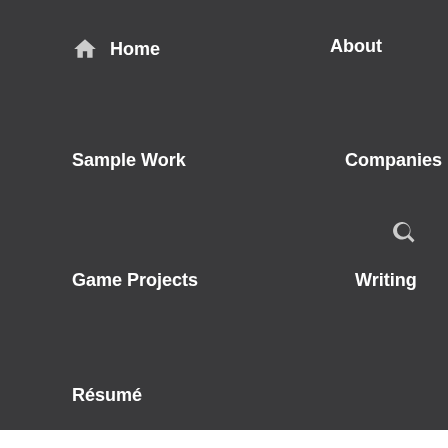Home | About | Sample Work | Companies | Game Projects | Writing | Résumé
This site uses Akismet to reduce spam. Learn how your comment data is processed.
Search
A SiteOrigin Theme